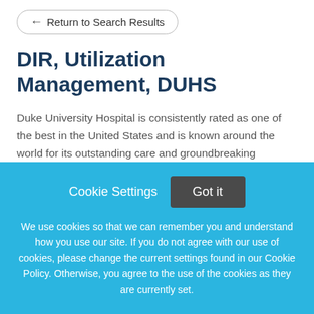← Return to Search Results
DIR, Utilization Management, DUHS
Duke University Hospital is consistently rated as one of the best in the United States and is known around the world for its outstanding care and groundbreaking research. Duke University Hospital has 957 inpatient beds
This job listing is no longer active.
Cookie Settings   Got it
We use cookies so that we can remember you and understand how you use our site. If you do not agree with our use of cookies, please change the current settings found in our Cookie Policy. Otherwise, you agree to the use of the cookies as they are currently set.